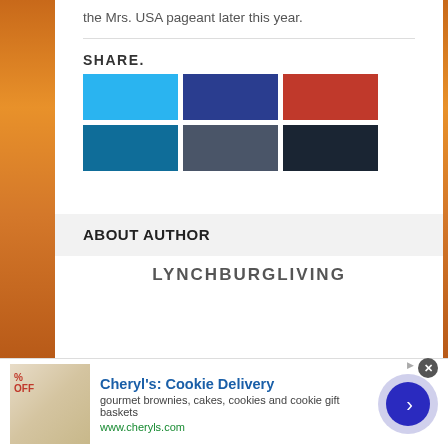the Mrs. USA pageant later this year.
SHARE.
[Figure (infographic): Six social media share buttons in colors: light blue (Twitter), dark blue (Facebook), red (Google+), teal (LinkedIn), slate (StumbleUpon), and dark navy (other). Arranged in two rows.]
ABOUT AUTHOR
LYNCHBURGLIVING
[Figure (infographic): Advertisement banner for Cheryl's Cookie Delivery showing a cookie image on the left, ad text in the middle, and a blue arrow circle button on the right. Ad text reads: Cheryl's: Cookie Delivery, gourmet brownies, cakes, cookies and cookie gift baskets, www.cheryls.com]